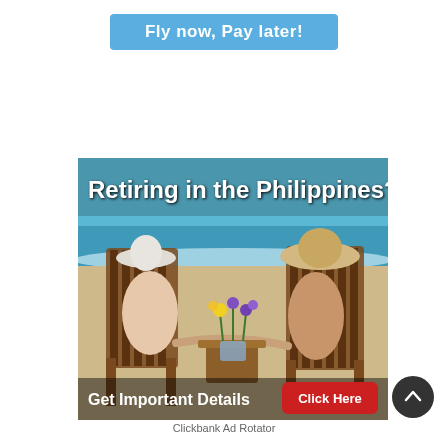[Figure (other): Blue banner button with text 'Fly now, Pay later!']
[Figure (infographic): Advertisement image showing two people sitting in wooden beach chairs facing the ocean, holding hands over a small table with yellow and purple flowers. Text overlay reads 'Retiring in the Philippines?' at top and 'Get Important Details' with a red 'Click Here' button at bottom.]
Clickbank Ad Rotator